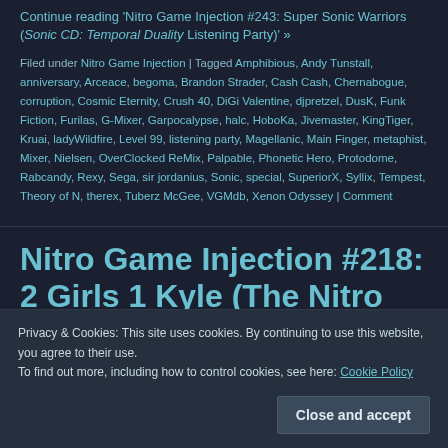Continue reading 'Nitro Game Injection #243: Super Sonic Warriors (Sonic CD: Temporal Duality Listening Party)' »
Filed under Nitro Game Injection | Tagged Amphibious, Andy Tunstall, anniversary, Arceace, begoma, Brandon Strader, Cash Cash, Chernabogue, corruption, Cosmic Eternity, Crush 40, DiGi Valentine, djpretzel, DusK, Funk Fiction, Furilas, G-Mixer, Garpocalypse, halc, HoboKa, Jivemaster, KingTiger, Kruai, ladyWildfire, Level 99, listening party, Magellanic, Main Finger, metaphist, Mixer, Nielsen, OverClocked ReMix, Palpable, Phonetic Hero, Protodome, Rabcandy, Rexy, Sega, sir jordanius, Sonic, special, SuperiorX, Syllix, Tempest, Theory of N, therex, Tuberz McGee, VGMdb, Xenon Odyssey | Comment
Nitro Game Injection #218: 2 Girls 1 Kyle (The Nitro Gamer Drive )
Privacy & Cookies: This site uses cookies. By continuing to use this website, you agree to their use. To find out more, including how to control cookies, see here: Cookie Policy
Close and accept